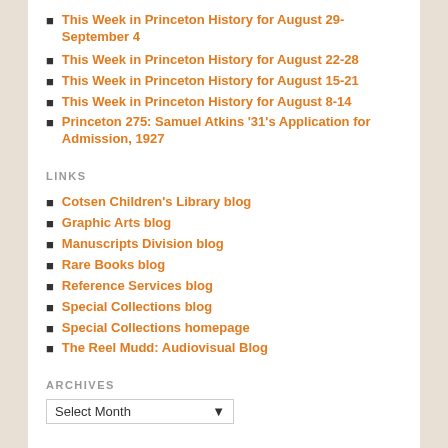This Week in Princeton History for August 29-September 4
This Week in Princeton History for August 22-28
This Week in Princeton History for August 15-21
This Week in Princeton History for August 8-14
Princeton 275: Samuel Atkins '31's Application for Admission, 1927
LINKS
Cotsen Children's Library blog
Graphic Arts blog
Manuscripts Division blog
Rare Books blog
Reference Services blog
Special Collections blog
Special Collections homepage
The Reel Mudd: Audiovisual Blog
ARCHIVES
Select Month